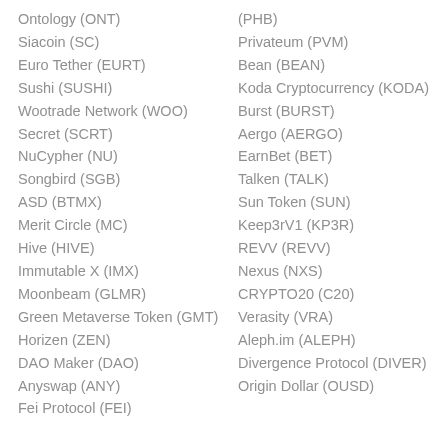Ontology (ONT)
Siacoin (SC)
Euro Tether (EURT)
Sushi (SUSHI)
Wootrade Network (WOO)
Secret (SCRT)
NuCypher (NU)
Songbird (SGB)
ASD (BTMX)
Merit Circle (MC)
Hive (HIVE)
Immutable X (IMX)
Moonbeam (GLMR)
Green Metaverse Token (GMT)
Horizen (ZEN)
DAO Maker (DAO)
Anyswap (ANY)
Fei Protocol (FEI)
(PHB)
Privateum (PVM)
Bean (BEAN)
Koda Cryptocurrency (KODA)
Burst (BURST)
Aergo (AERGO)
EarnBet (BET)
Talken (TALK)
Sun Token (SUN)
Keep3rV1 (KP3R)
REVV (REVV)
Nexus (NXS)
CRYPTO20 (C20)
Verasity (VRA)
Aleph.im (ALEPH)
Divergence Protocol (DIVER)
Origin Dollar (OUSD)